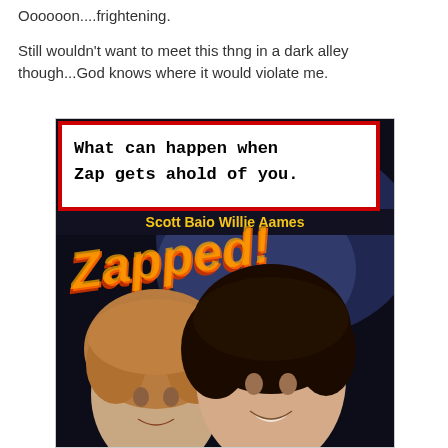Oooooon....frightening.
Still wouldn't want to meet this thng in a dark alley though...God knows where it would violate me.
[Figure (photo): Movie poster for 'Zapped!' featuring Scott Baio and Willie Aames, with a white box overlay at top reading 'What can happen when Zap gets ahold of you.' in monospace font with a red border. The poster shows two young men against a dark background with lightning effects and the stylized 'Zapped!' title in orange/red letters.]